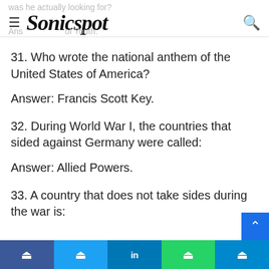Sonicspot
31. Who wrote the national anthem of the United States of America?
Answer: Francis Scott Key.
32. During World War I, the countries that sided against Germany were called:
Answer: Allied Powers.
33. A country that does not take sides during the war is: